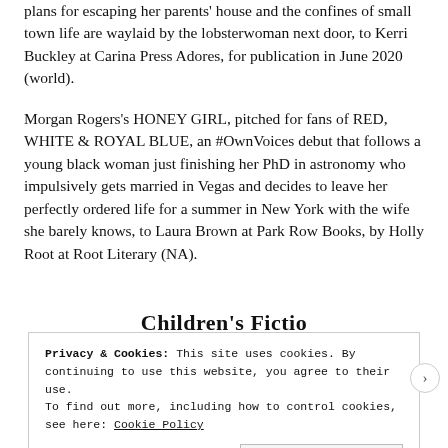plans for escaping her parents' house and the confines of small town life are waylaid by the lobsterwoman next door, to Kerri Buckley at Carina Press Adores, for publication in June 2020 (world).
Morgan Rogers's HONEY GIRL, pitched for fans of RED, WHITE & ROYAL BLUE, an #OwnVoices debut that follows a young black woman just finishing her PhD in astronomy who impulsively gets married in Vegas and decides to leave her perfectly ordered life for a summer in New York with the wife she barely knows, to Laura Brown at Park Row Books, by Holly Root at Root Literary (NA).
Children's Fictio...
Privacy & Cookies: This site uses cookies. By continuing to use this website, you agree to their use.
To find out more, including how to control cookies, see here: Cookie Policy
Close and accept